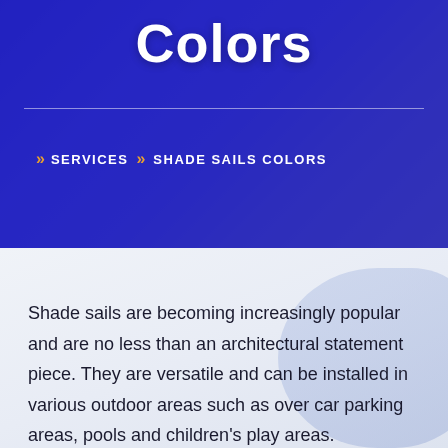Colors
» SERVICES » SHADE SAILS COLORS
Shade sails are becoming increasingly popular and are no less than an architectural statement piece. They are versatile and can be installed in various outdoor areas such as over car parking areas, pools and children's play areas.